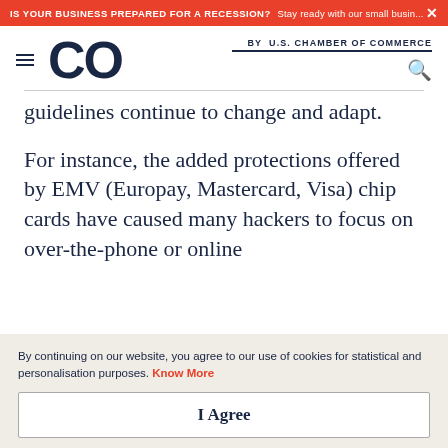IS YOUR BUSINESS PREPARED FOR A RECESSION? Stay ready with our small busin...
CO by U.S. CHAMBER OF COMMERCE
guidelines continue to change and adapt.
For instance, the added protections offered by EMV (Europay, Mastercard, Visa) chip cards have caused many hackers to focus on over-the-phone or online
By continuing on our website, you agree to our use of cookies for statistical and personalisation purposes. Know More
I Agree